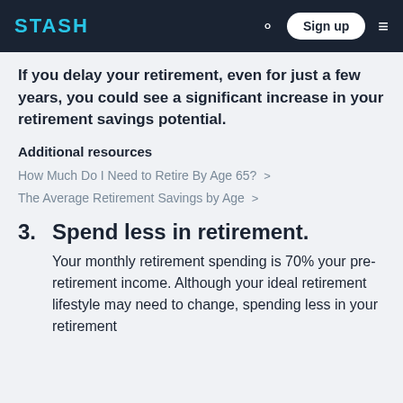STASH | Sign up
If you delay your retirement, even for just a few years, you could see a significant increase in your retirement savings potential.
Additional resources
How Much Do I Need to Retire By Age 65? >
The Average Retirement Savings by Age >
3. Spend less in retirement.
Your monthly retirement spending is 70% your pre-retirement income. Although your ideal retirement lifestyle may need to change, spending less in your retirement